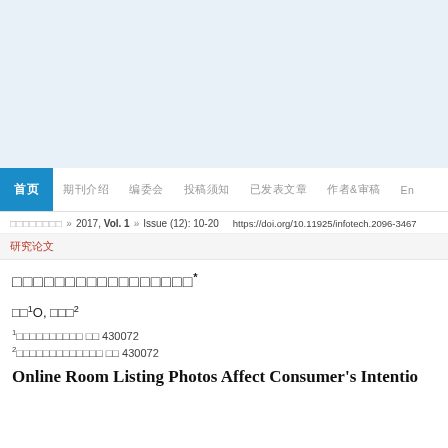[Figure (other): Light blue header banner area at the top of the journal webpage]
首页  期刊介绍  编委会  投稿须知  已发表文章  作者&审稿  En
信息技术与信息化 » 2017, Vol. 1 » Issue (12): 10-20   https://doi.org/10.11925/infotech.2096-3467
研究论文
网络民宿图片对消费者预订意向的影响*
李贺1O, 刘怡君2
1武汉大学信息管理学院 武汉 430072
2武汉大学经济与管理学院 武汉 430072
Online Room Listing Photos Affect Consumer's Intention